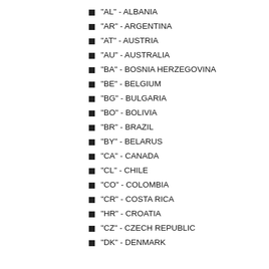"AL" - ALBANIA
"AR" - ARGENTINA
"AT" - AUSTRIA
"AU" - AUSTRALIA
"BA" - BOSNIA HERZEGOVINA
"BE" - BELGIUM
"BG" - BULGARIA
"BO" - BOLIVIA
"BR" - BRAZIL
"BY" - BELARUS
"CA" - CANADA
"CL" - CHILE
"CO" - COLOMBIA
"CR" - COSTA RICA
"HR" - CROATIA
"CZ" - CZECH REPUBLIC
"DK" - DENMARK